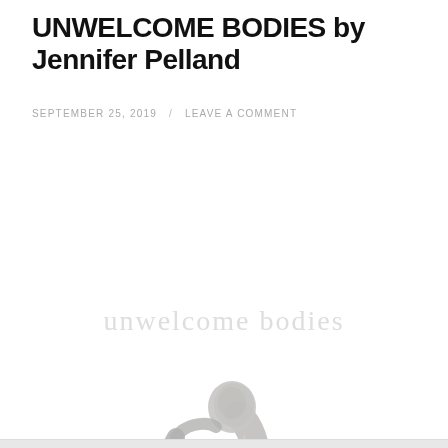UNWELCOME BODIES by Jennifer Pelland
SEPTEMBER 25, 2019 / LEAVE A COMMENT
[Figure (illustration): Watermark text reading 'unwelcome bodies' in light grey serif font, with a black-and-white stylized photograph of a hairless nude human figure sitting curled up with knees drawn to chest and head bowed down, resting on a dark rectangular base.]